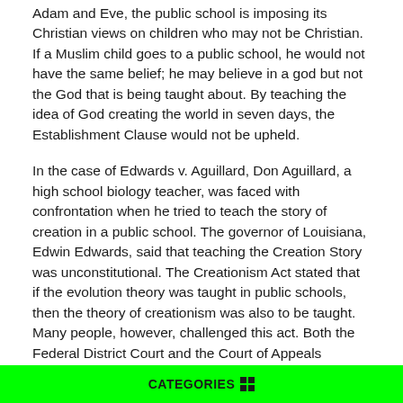Adam and Eve, the public school is imposing its Christian views on children who may not be Christian. If a Muslim child goes to a public school, he would not have the same belief; he may believe in a god but not the God that is being taught about. By teaching the idea of God creating the world in seven days, the Establishment Clause would not be upheld.
In the case of Edwards v. Aguillard, Don Aguillard, a high school biology teacher, was faced with confrontation when he tried to teach the story of creation in a public school. The governor of Louisiana, Edwin Edwards, said that teaching the Creation Story was unconstitutional. The Creationism Act stated that if the evolution theory was taught in public schools, then the theory of creationism was also to be taught. Many people, however, challenged this act. Both the Federal District Court and the Court of Appeals declared that the Creationism Act was unconstitutional.
The court rulings came about because of the Lemon Test. The
CATEGORIES